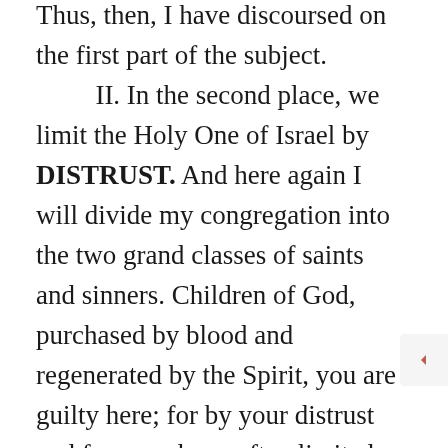Thus, then, I have discoursed on the first part of the subject. II. In the second place, we limit the Holy One of Israel by DISTRUST. And here again I will divide my congregation into the two grand classes of saints and sinners. Children of God, purchased by blood and regenerated by the Spirit, you are guilty here; for by your distrust and fear you have often limited the Holy One of Israel, and have said in effect, that his ear is heavy that it cannot hear, and that his arm is shortened that it cannot save. In your trials you have done this. You have looked